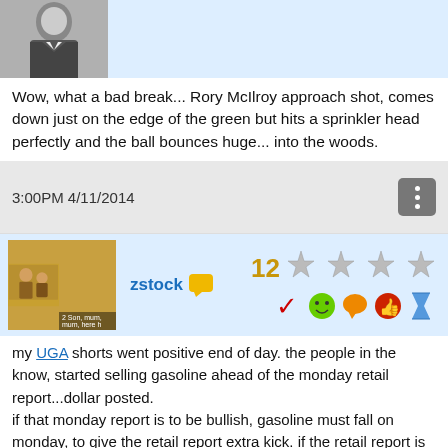[Figure (photo): Black and white photo of a man in a suit, upper body visible, partially cropped]
Wow, what a bad break... Rory McIlroy approach shot, comes down just on the edge of the green but hits a sprinkler head perfectly and the ball bounces huge... into the woods.
3:00PM 4/11/2014
[Figure (photo): Sepia-toned photo of two people, with caption '2 Son, mum, mum, here h']
zstock
12 stars and rating icons
my UGA shorts went positive end of day. the people in the know, started selling gasoline ahead of the monday retail report...dollar posted.
if that monday report is to be bullish, gasoline must fall on monday, to give the retail report extra kick. if the retail report is bearish, it'll probably drag down